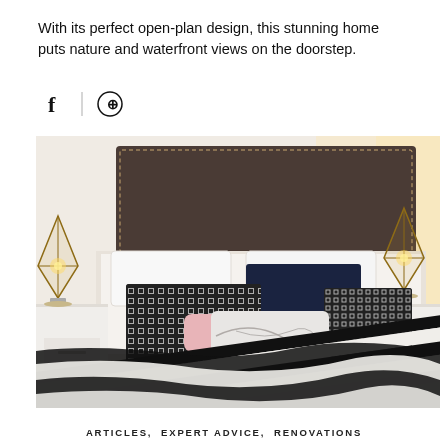With its perfect open-plan design, this stunning home puts nature and waterfront views on the doorstep.
[Figure (illustration): Social media sharing icons: Facebook (f) and Pinterest (circle with P symbol), separated by a vertical divider line]
[Figure (photo): A stylishly decorated bedroom featuring a dark upholstered headboard with nailhead trim. The bed is dressed with monochrome geometric print cushions, a large navy blue velvet cushion, a white lumbar pillow, a pink velvet cushion, a marble-print cushion, and a black and white bold stripe throw blanket. Two matching geometric wire table lamps with warm glowing bulbs sit on white bedside tables on either side of the bed. The room has light walls and neutral carpet flooring.]
ARTICLES,  EXPERT ADVICE,  RENOVATIONS